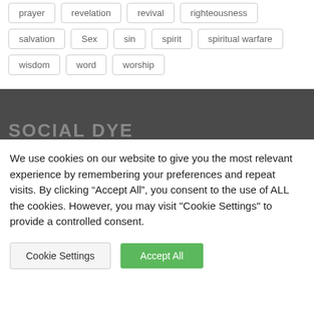prayer
revelation
revival
righteousness
salvation
Sex
sin
spirit
spiritual warfare
wisdom
word
worship
SOCIAL DYE
We use cookies on our website to give you the most relevant experience by remembering your preferences and repeat visits. By clicking “Accept All”, you consent to the use of ALL the cookies. However, you may visit "Cookie Settings" to provide a controlled consent.
Cookie Settings
Accept All